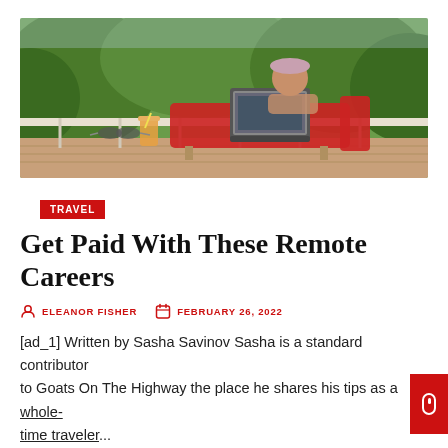[Figure (photo): Woman in a hat sitting in a red lounge chair on a balcony, working on a laptop with a tropical drink beside her and lush green landscape in the background.]
TRAVEL
Get Paid With These Remote Careers
ELEANOR FISHER   FEBRUARY 26, 2022
[ad_1] Written by Sasha Savinov Sasha is a standard contributor to Goats On The Highway the place he shares his tips as a whole-time traveler...